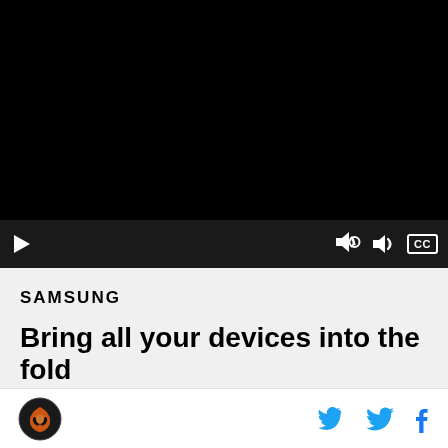[Figure (screenshot): Black video player with playback controls at bottom: play button on left, volume icon and CC (closed captions) button on right. Video area is completely black.]
SAMSUNG
Bring all your devices into the fold
Site logo (hawk/bird icon) on left; Twitter and Facebook social icons on right